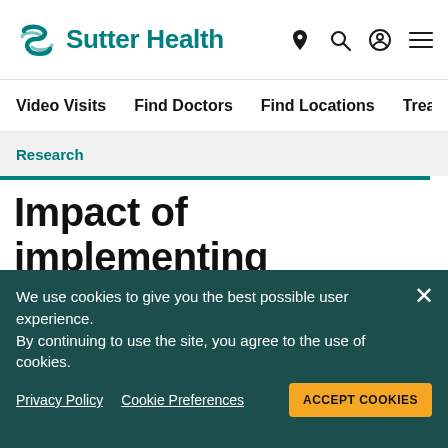[Figure (logo): Sutter Health logo with teal S icon and bold teal text]
Video Visits   Find Doctors   Find Locations   Treatments
Research
Impact of implementing electronic prior authorization on medication filling in an
We use cookies to give you the best possible user experience. By continuing to use the site, you agree to the use of cookies.
Privacy Policy   Cookie Preferences   ACCEPT COOKIES